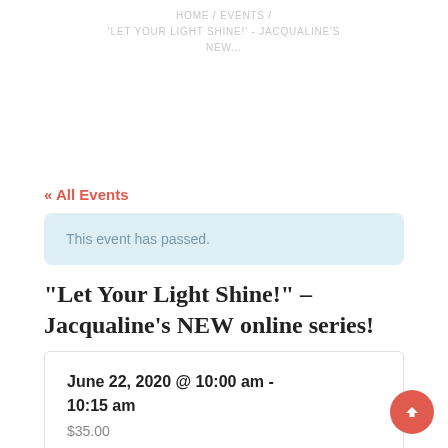HOME / EVENTS / 'LET YOUR LIGHT SHINE!' - JACQUALINE'S NEW...
« All Events
This event has passed.
“Let Your Light Shine!” – Jacqualine’s NEW online series!
June 22, 2020 @ 10:00 am - 10:15 am
$35.00